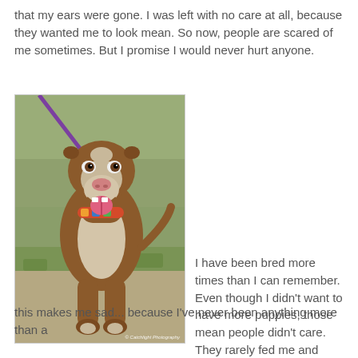that my ears were gone. I was left with no care at all, because they wanted me to look mean. So now, people are scared of me sometimes. But I promise I would never hurt anyone.
[Figure (photo): A brown and white pit bull dog standing on grass, wearing a purple leash and a colorful collar, mouth open and tongue out, looking friendly and happy.]
I have been bred more times than I can remember. Even though I didn't want to have more puppies, those mean people didn't care. They rarely fed me and never loved me. All of this makes me sad... because I've never been anything more than a